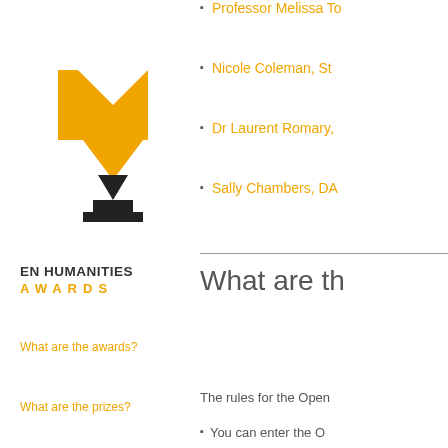[Figure (logo): Open Humanities Awards trophy logo — golden geometric trophy shape above a black triangular base, with text 'EN HUMANITIES' and 'AWARDS' below]
Professor Melissa To
Nicole Coleman, St
Dr Laurent Romary,
Sally Chambers, DA
What are th
What are the awards?
What are the prizes?
The rules for the Open
You can enter the O